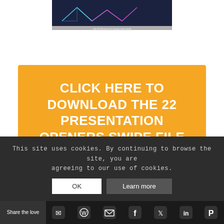[Figure (screenshot): Dark blue banner image with geometric triangle/line designs and text 'Join the Movement at www.presence.world']
[Figure (infographic): Orange call-to-action button with white text: CLICK HERE TO DOWNLOAD THE 22 PRESENTATION OPENERS SWIPE FILE]
This site uses cookies. By continuing to browse the site, you are agreeing to our use of cookies.
OK  Learn more
Share the love [social icons: Line, WhatsApp, Email, Facebook, Twitter, LinkedIn, Pinterest]